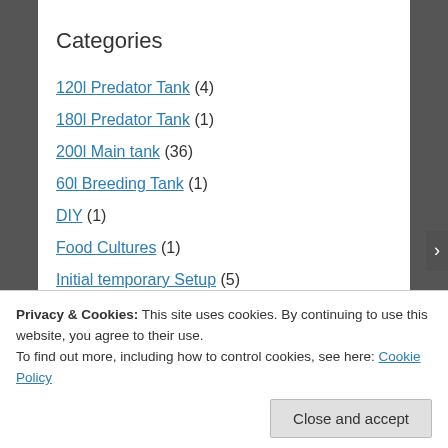Categories
120l Predator Tank (4)
180l Predator Tank (1)
200l Main tank (36)
60l Breeding Tank (1)
DIY (1)
Food Cultures (1)
Initial temporary Setup (5)
Rockpooling etc (11)
The Plan (1)
Privacy & Cookies: This site uses cookies. By continuing to use this website, you agree to their use. To find out more, including how to control cookies, see here: Cookie Policy